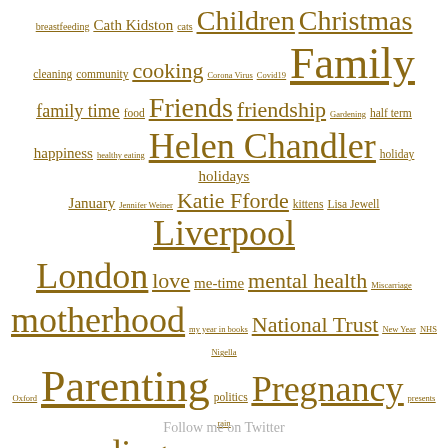[Figure (other): A tag cloud of blog topics in golden/brown color, with varying font sizes indicating frequency. Tags include: breastfeeding, Cath Kidston, cats, Children, Christmas, cleaning, community, cooking, Corona Virus, Covid19, Family, family time, food, Friends, friendship, Gardening, half term, happiness, healthy eating, Helen Chandler, holiday, holidays, January, Jennifer Weiner, Katie Fforde, kittens, Lisa Jewell, Liverpool, London, love, me-time, mental health, Miscarriage, motherhood, my year in books, National Trust, New Year, NHS, Nigella, Oxford, Parenting, politics, Pregnancy, presents, rain, reading, school, school holidays, shopping, social media, Spring, starting school, summer, summer holidays, toddlers, To Have and to Hold, Two for Joy, Walthamstow, Waterstones, Weather, writing. Followed by 'Follow me on Twitter'.]
Follow me on Twitter